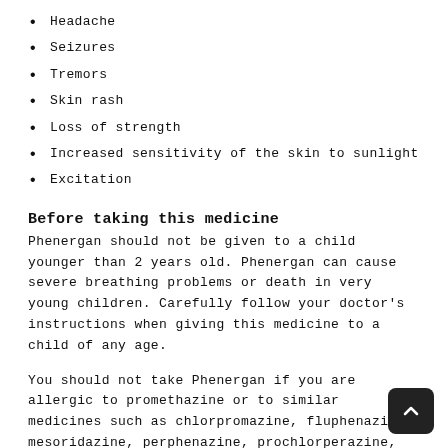Headache
Seizures
Tremors
Skin rash
Loss of strength
Increased sensitivity of the skin to sunlight
Excitation
Before taking this medicine
Phenergan should not be given to a child younger than 2 years old. Phenergan can cause severe breathing problems or death in very young children. Carefully follow your doctor's instructions when giving this medicine to a child of any age.
You should not take Phenergan if you are allergic to promethazine or to similar medicines such as chlorpromazine, fluphenazine, mesoridazine, perphenazine, prochlorperazine, thioridazine, or trifluperazine.
You should not take Phenergan if you have asthma or any lower respiratory tract disorder.